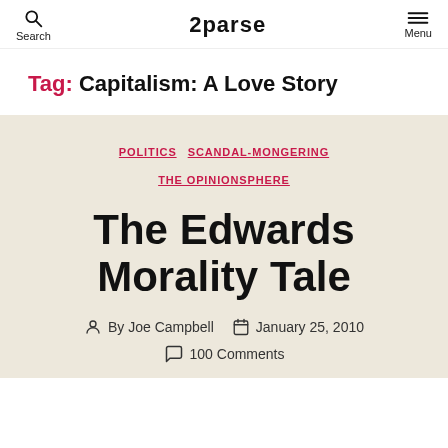Search | 2parse | Menu
Tag: Capitalism: A Love Story
POLITICS  SCANDAL-MONGERING  THE OPINIONSPHERE
The Edwards Morality Tale
By Joe Campbell  January 25, 2010  100 Comments